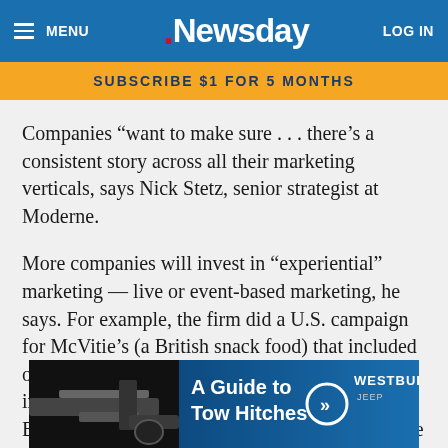MENU | Newsday | LOG IN
SUBSCRIBE $1 FOR 5 MONTHS
Companies “want to make sure . . . there’s a consistent story across all their marketing verticals, says Nick Stetz, senior strategist at Moderne.
More companies will invest in “experiential” marketing — live or event-based marketing, he says. For example, the firm did a U.S. campaign for McVitie’s (a British snack food) that included offering samples at the St. Patrick’s Day parades in Huntington, Rockville Centre and Hampton Bays. “It’s creating an experience with and for the brand,” Mastrocovi says.
[Figure (advertisement): Advertisement banner for A Guide to Tow Hitches featuring Westbury Jeep dealer, with dark background showing a tow hitch image on left and bold white text on right with a circular arrow button]